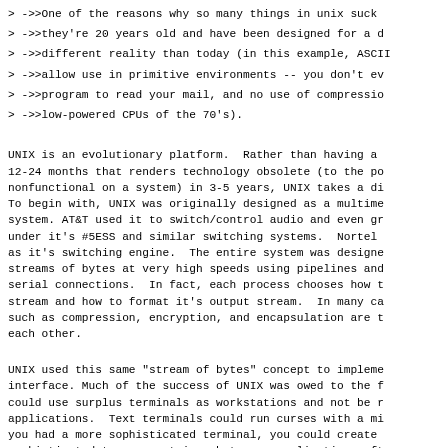> ->>One of the reasons why so many things in unix suck
> ->>they're 20 years old and have been designed for a d
> ->>different reality than today (in this example, ASCII
> ->>allow use in primitive environments -- you don't ev
> ->>program to read your mail, and no use of compressio
> ->>low-powered CPUs of the 70's).
UNIX is an evolutionary platform.  Rather than having a 12-24 months that renders technology obsolete (to the po nonfunctional on a system) in 3-5 years, UNIX takes a di To begin with, UNIX was originally designed as a multime system. AT&T used it to switch/control audio and even gr under it's #5ESS and similar switching systems.  Nortel as it's switching engine.  The entire system was designe streams of bytes at very high speeds using pipelines and serial connections.  In fact, each process chooses how t stream and how to format it's output stream.  In many ca such as compression, encryption, and encapsulation are t each other.
UNIX used this same "stream of bytes" concept to impleme interface. Much of the success of UNIX was owed to the f could use surplus terminals as workstations and not be r applications.  Text terminals could run curses with a mi you had a more sophisticated terminal, you could create sophisticated termcap entries, but your application soft to call the curses routines.